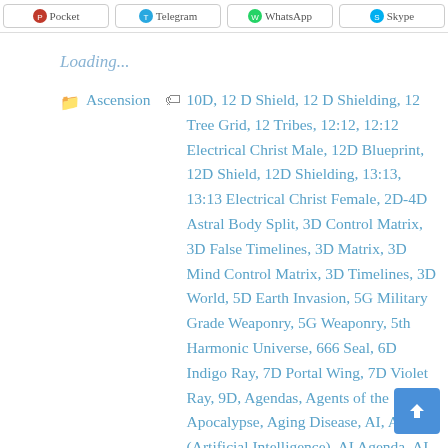Pocket  Telegram  WhatsApp  Skype
Loading...
Ascension  10D, 12 D Shield, 12 D Shielding, 12 Tree Grid, 12 Tribes, 12:12, 12:12 Electrical Christ Male, 12D Blueprint, 12D Shield, 12D Shielding, 13:13, 13:13 Electrical Christ Female, 2D-4D Astral Body Split, 3D Control Matrix, 3D False Timelines, 3D Matrix, 3D Mind Control Matrix, 3D Timelines, 3D World, 5D Earth Invasion, 5G Military Grade Weaponry, 5G Weaponry, 5th Harmonic Universe, 666 Seal, 6D Indigo Ray, 7D Portal Wing, 7D Violet Ray, 9D, Agendas, Agents of the Apocalypse, Aging Disease, AI, AI (Artificial Intelligence), AI Agenda, AI Clearing, AI Control Matrix, AI Digital Twin, AI Digital Twinning, AI Digital Twins, AI Genetic Engineering, AI Hive Mind Control, AI Holograms, AI Infested Synthetic Beings, AI Machinations, AI Machinery, AI Machines, AI Microchip Vaccinations, AI Mind Control, AI Mind Control Agenda, AI Mind Control Matrix, AI Robots, AI Technocracy, AI